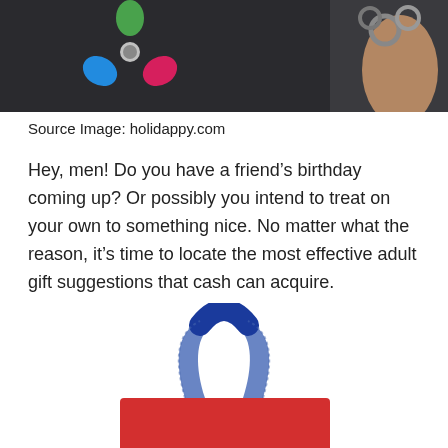[Figure (photo): Photo showing a fidget spinner on a dark surface and a bracelet on a wrist, partial top crop]
Source Image: holidappy.com
Hey, men! Do you have a friend’s birthday coming up? Or possibly you intend to treat on your own to something nice. No matter what the reason, it’s time to locate the most effective adult gift suggestions that cash can acquire.
[Figure (photo): Photo showing the top of a red bag/tote with a blue braided handle, partial bottom crop]